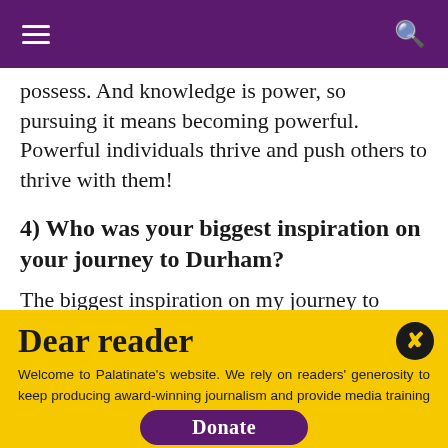possess. And knowledge is power, so pursuing it means becoming powerful. Powerful individuals thrive and push others to thrive with them!
4) Who was your biggest inspiration on your journey to Durham?
The biggest inspiration on my journey to Durham would have to be Chrissi Kelly, my all-
Dear reader
Welcome to Palatinate's website. We rely on readers' generosity to keep producing award-winning journalism and provide media training opportunities to our team of more than 150 students. Palatinate has produced some of the biggest names in British media, from Jeremy Vine to the late great Sir Harold Evans. Every contribution to Palatinate is an investment into the future of journalism.
Donate